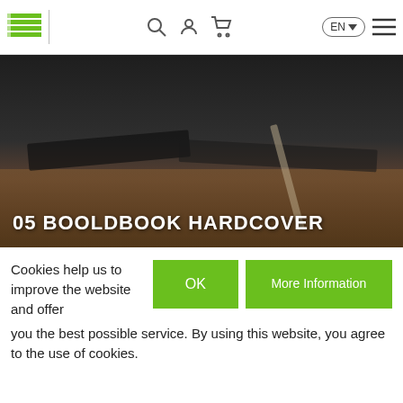Navigation bar with logo, search, user, cart icons, EN language selector, and menu
[Figure (photo): Dark moody hero image showing book covers or notebooks on a dark surface with wooden table edge visible, title overlay reads '05 BOOLDBOOK HARDCOVER']
05 BOOLDBOOK HARDCOVER
Cookies help us to improve the website and offer you the best possible service. By using this website, you agree to the use of cookies.